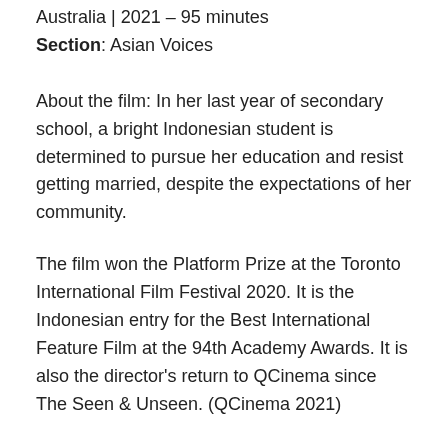Australia | 2021 – 95 minutes
Section: Asian Voices
About the film: In her last year of secondary school, a bright Indonesian student is determined to pursue her education and resist getting married, despite the expectations of her community.
The film won the Platform Prize at the Toronto International Film Festival 2020. It is the Indonesian entry for the Best International Feature Film at the 94th Academy Awards. It is also the director's return to QCinema since The Seen & Unseen. (QCinema 2021)
Screening Dates:
Streaming via KTX.PH